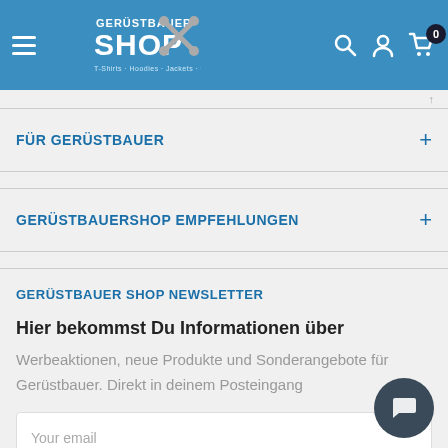Gerüstbauer Shop — Navigation header with logo, search, account, cart icons
FÜR GERÜSTBAUER
GERÜSTBAUERSHOP EMPFEHLUNGEN
GERÜSTBAUER SHOP NEWSLETTER
Hier bekommst Du Informationen über
Werbeaktionen, neue Produkte und Sonderangebote für Gerüstbauer. Direkt in deinem Posteingang
Your email